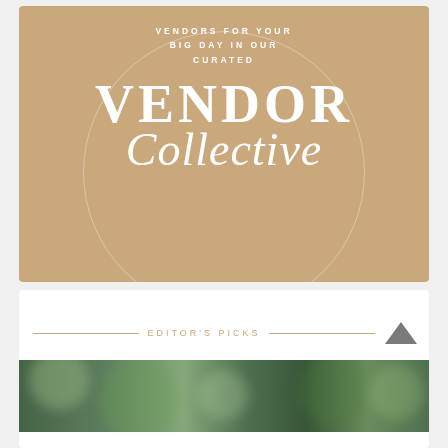[Figure (illustration): Tan/beige colored card with a large thin circle outline watermark. Text reads 'VENDORS FOR YOUR BIG DAY IN OUR CURATED' in small spaced uppercase letters, then 'VENDOR' in large bold serif uppercase and 'Collective' in large italic script font, all in white.]
EDITOR'S PICKS
[Figure (photo): Blurred green botanical/foliage image strip, appearing to show out-of-focus greenery and leaves.]